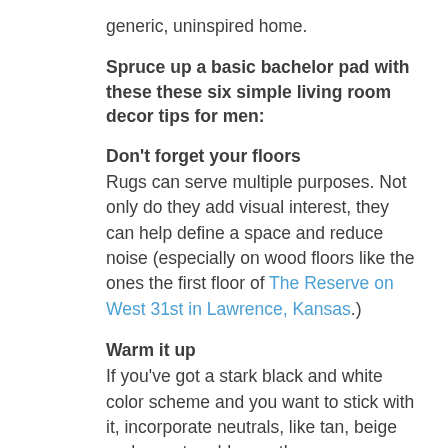generic, uninspired home.
Spruce up a basic bachelor pad with these these six simple living room decor tips for men:
Don't forget your floors
Rugs can serve multiple purposes. Not only do they add visual interest, they can help define a space and reduce noise (especially on wood floors like the ones the first floor of The Reserve on West 31st in Lawrence, Kansas.)
Warm it up
If you've got a stark black and white color scheme and you want to stick with it, incorporate neutrals, like tan, beige and grey, to add warmth.